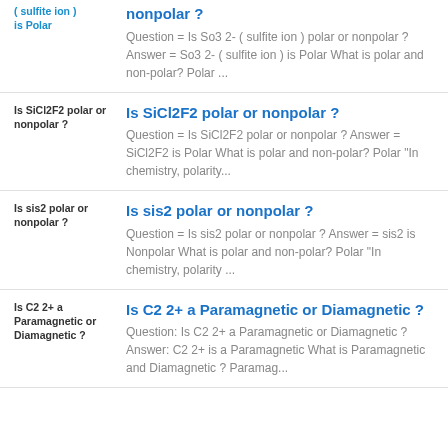( sulfite ion ) is Polar
nonpolar ?
Question  = Is So3 2- ( sulfite ion ) polar or nonpolar ? Answer  = So3 2- ( sulfite ion ) is  Polar What is polar and non-polar? Polar ...
Is SiCl2F2 polar or nonpolar ?
Is SiCl2F2 polar or nonpolar ?
Question =  Is SiCl2F2 polar or nonpolar  ? Answer =  SiCl2F2 is  Polar What is polar and non-polar? Polar "In chemistry, polarity...
Is sis2 polar or nonpolar ?
Is sis2 polar or nonpolar ?
Question =  Is sis2 polar or  nonpolar ? Answer =  sis2   is Nonpolar What is polar and non-polar? Polar "In chemistry, polarity ...
Is C2 2+ a Paramagnetic or Diamagnetic ?
Is C2 2+ a Paramagnetic or Diamagnetic ?
Question: Is  C2 2+ a Paramagnetic or Diamagnetic ? Answer:  C2 2+ is a Paramagnetic What is Paramagnetic and Diamagnetic ? Paramag...